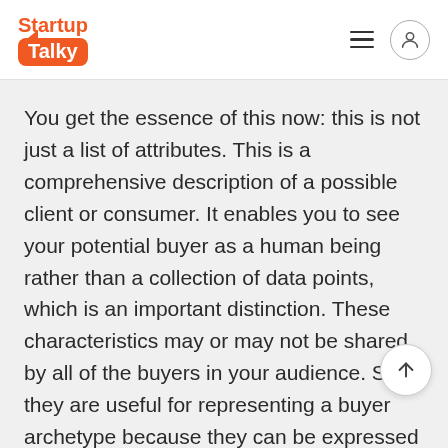StartupTalky
You get the essence of this now: this is not just a list of attributes. This is a comprehensive description of a possible client or consumer. It enables you to see your potential buyer as a human being rather than a collection of data points, which is an important distinction. These characteristics may or may not be shared by all of the buyers in your audience. Still, they are useful for representing a buyer archetype because they can be expressed concretely.
Aim for around the same amount of material you